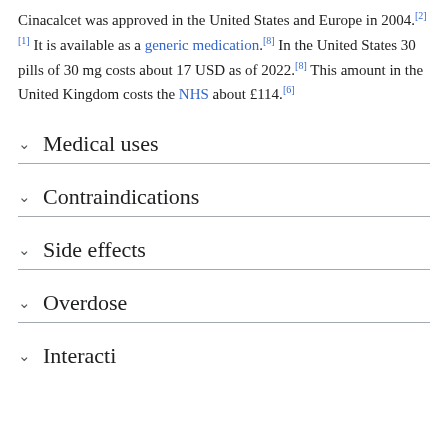Cinacalcet was approved in the United States and Europe in 2004.[2][1] It is available as a generic medication.[8] In the United States 30 pills of 30 mg costs about 17 USD as of 2022.[8] This amount in the United Kingdom costs the NHS about £114.[6]
Medical uses
Contraindications
Side effects
Overdose
Interactions